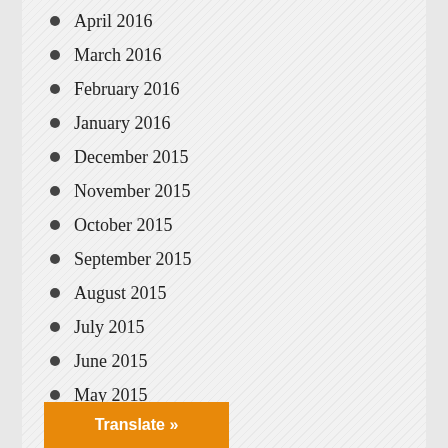April 2016
March 2016
February 2016
January 2016
December 2015
November 2015
October 2015
September 2015
August 2015
July 2015
June 2015
May 2015
April 2015
March 2015
February 2015
January 2015
December 2014
November 2014